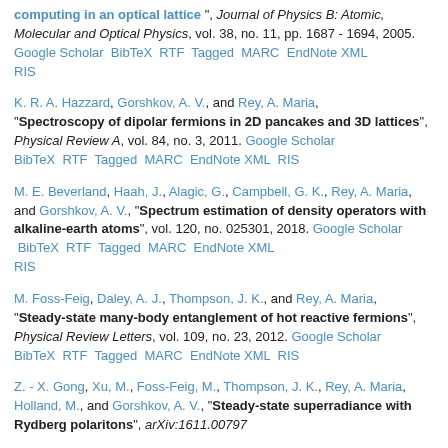computing in an optical lattice", Journal of Physics B: Atomic, Molecular and Optical Physics, vol. 38, no. 11, pp. 1687 - 1694, 2005. Google Scholar BibTeX RTF Tagged MARC EndNote XML RIS
K. R. A. Hazzard, Gorshkov, A. V., and Rey, A. Maria, "Spectroscopy of dipolar fermions in 2D pancakes and 3D lattices", Physical Review A, vol. 84, no. 3, 2011. Google Scholar BibTeX RTF Tagged MARC EndNote XML RIS
M. E. Beverland, Haah, J., Alagic, G., Campbell, G. K., Rey, A. Maria, and Gorshkov, A. V., "Spectrum estimation of density operators with alkaline-earth atoms", vol. 120, no. 025301, 2018. Google Scholar BibTeX RTF Tagged MARC EndNote XML RIS
M. Foss-Feig, Daley, A. J., Thompson, J. K., and Rey, A. Maria, "Steady-state many-body entanglement of hot reactive fermions", Physical Review Letters, vol. 109, no. 23, 2012. Google Scholar BibTeX RTF Tagged MARC EndNote XML RIS
Z. - X. Gong, Xu, M., Foss-Feig, M., Thompson, J. K., Rey, A. Maria, Holland, M., and Gorshkov, A. V., "Steady-state superradiance with Rydberg polaritons", arXiv:1611.00797